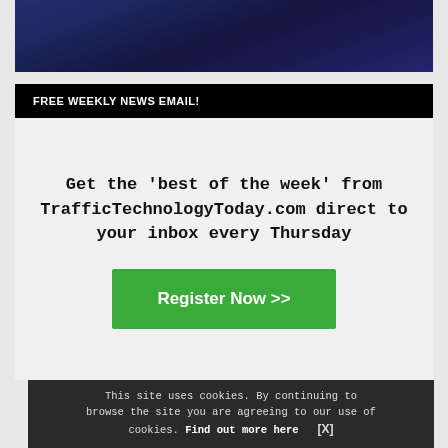[Figure (photo): Dark blue abstract highway/technology image at top of page]
FREE WEEKLY NEWS EMAIL!
Get the 'best of the week' from TrafficTechnologyToday.com direct to your inbox every Thursday
Register Now >>
This site uses cookies. By continuing to browse the site you are agreeing to our use of cookies. Find out more here   [X]